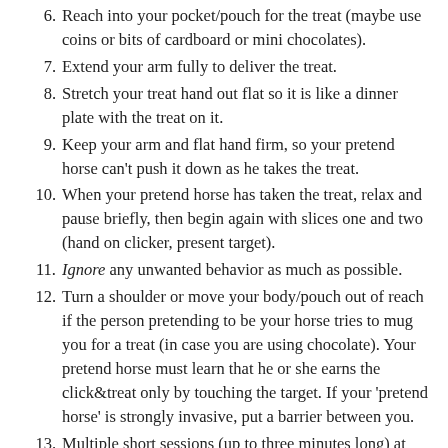6. Reach into your pocket/pouch for the treat (maybe use coins or bits of cardboard or mini chocolates).
7. Extend your arm fully to deliver the treat.
8. Stretch your treat hand out flat so it is like a dinner plate with the treat on it.
9. Keep your arm and flat hand firm, so your pretend horse can't push it down as he takes the treat.
10. When your pretend horse has taken the treat, relax and pause briefly, then begin again with slices one and two (hand on clicker, present target).
11. Ignore any unwanted behavior as much as possible.
12. Turn a shoulder or move your body/pouch out of reach if the person pretending to be your horse tries to mug you for a treat (in case you are using chocolate). Your pretend horse must learn that he or she earns the click&treat only by touching the target. If your 'pretend horse' is strongly invasive, put a barrier between you.
13. Multiple short sessions (up to three minutes long) at different times during the day allow your brain and your